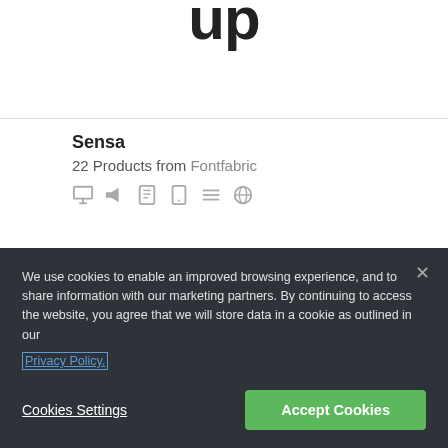up
Sensa
22 Products from Fontfabric
[Figure (other): Row of small icons: desktop monitor, megaphone/flag, e-reader, tablet, lines/strikethrough, globe]
[Figure (other): Large decorative script font preview showing partial text 'The quick bro' in italic serif style]
We use cookies to enable an improved browsing experience, and to share information with our marketing partners. By continuing to access the website, you agree that we will store data in a cookie as outlined in our
Privacy Policy.
Cookies Settings
Accept Cookies